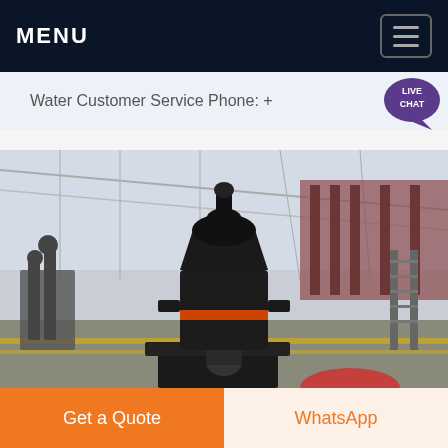MENU
Water Customer Service Phone: +
[Figure (photo): Industrial equipment photo: A large black submersible or industrial pump/separator unit mounted on a stand in a large warehouse/industrial hall with steel roof structure. Another piece of equipment visible in background left. Yellow safety markings on floor.]
Get a Quote
WhatsApp